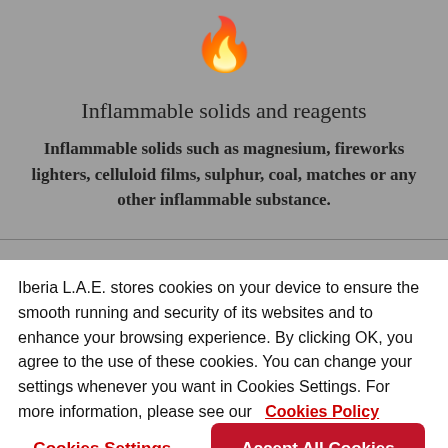[Figure (illustration): Flame/fire icon in dark color on gray background]
Inflammable solids and reagents
Inflammable solids such as magnesium, fireworks lighters, celluloid films, sulphur, coal, matches or any other inflammable substance.
Iberia L.A.E. stores cookies on your device to ensure the smooth running and security of its websites and to enhance your browsing experience. By clicking OK, you agree to the use of these cookies. You can change your settings whenever you want in Cookies Settings. For more information, please see our Cookies Policy
Cookies Settings
Accept All Cookies